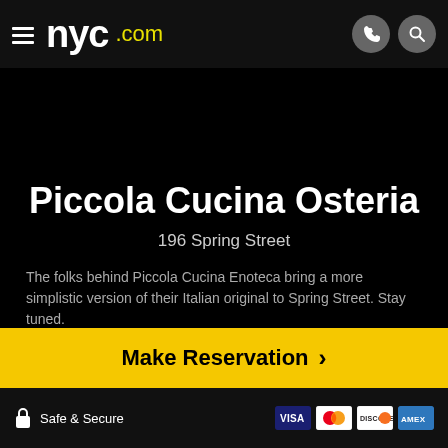nyc.com
Piccola Cucina Osteria
196 Spring Street
The folks behind Piccola Cucina Enoteca bring a more simplistic version of their Italian original to Spring Street. Stay tuned.
Make Reservation >
Safe & Secure